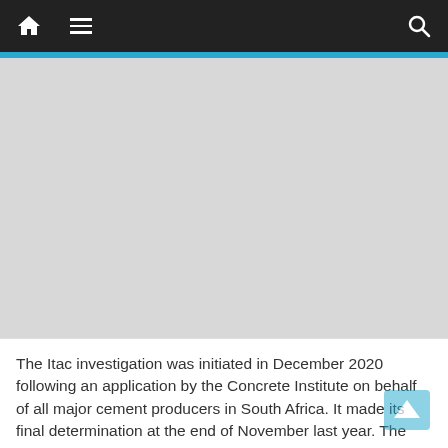Navigation bar with home, menu, and search icons
[Figure (other): Gray advertisement/image placeholder area]
The Itac investigation was initiated in December 2020 following an application by the Concrete Institute on behalf of all major cement producers in South Africa. It made its final determination at the end of November last year. The duties were